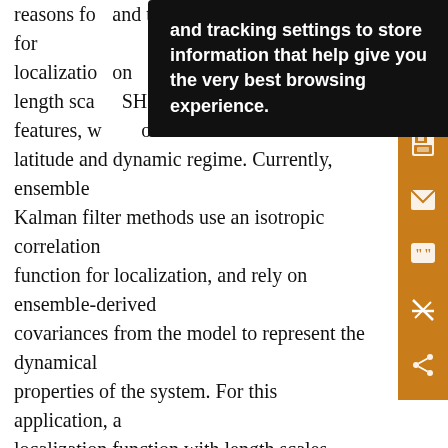reasons for localization on length scale features, which depend on latitude and dynamic regime. Currently, ensemble Kalman filter methods use an isotropic correlation function for localization, and rely on ensemble-derived covariances from the model to represent the dynamical properties of the system. For this application, a localization function with length scales varying with the latitude might be beneficial. However, the experiments performed here are concerned with the general differences induced by the weighting functions. For this reason, isotropic correlation functions are used here for localization.

Besides the fifth-order polynomial function an
[Figure (screenshot): Black tooltip overlay showing text: 'and tracking settings to store information that help give you the very best browsing experience.']
[Figure (infographic): Orange sidebar with icons: save (disk), email (envelope), quote (speech bubble with quotation marks), annotation (pencil with strikethrough), share (branching arrows)]